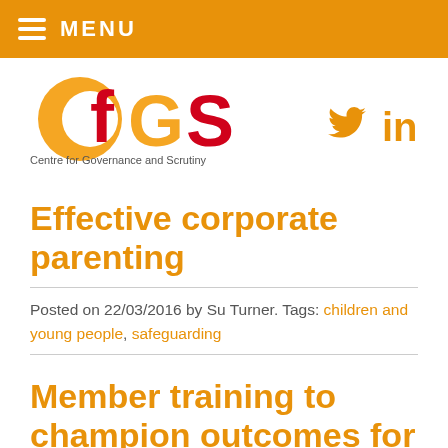MENU
[Figure (logo): CfGS – Centre for Governance and Scrutiny logo with orange and red lettering]
[Figure (infographic): Twitter bird and LinkedIn 'in' social media icons in orange]
Effective corporate parenting
Posted on 22/03/2016 by Su Turner. Tags: children and young people, safeguarding
Member training to champion outcomes for